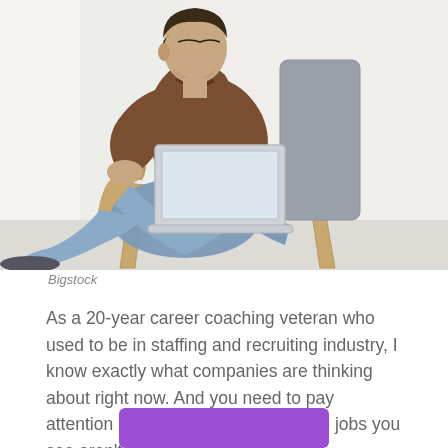[Figure (photo): A man sitting in a modern wooden armchair, wearing a brown long-sleeve shirt and light blue jeans, working on a laptop computer. The background is a bright white room with curtains.]
Bigstock
As a 20-year career coaching veteran who used to be in staffing and recruiting industry, I know exactly what companies are thinking about right now. And you need to pay attention because a lot of the remote jobs you see aren't going to stay remote.